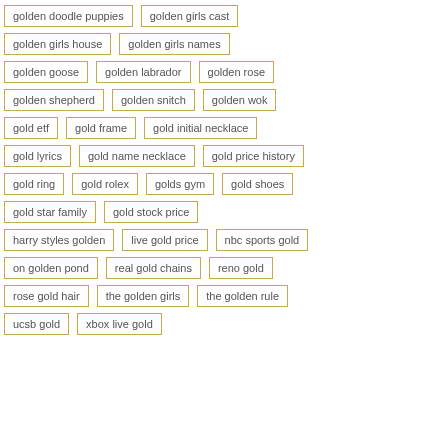golden doodle puppies
golden girls cast
golden girls house
golden girls names
golden goose
golden labrador
golden rose
golden shepherd
golden snitch
golden wok
gold etf
gold frame
gold initial necklace
gold lyrics
gold name necklace
gold price history
gold ring
gold rolex
golds gym
gold shoes
gold star family
gold stock price
harry styles golden
live gold price
nbc sports gold
on golden pond
real gold chains
reno gold
rose gold hair
the golden girls
the golden rule
ucsb gold
xbox live gold